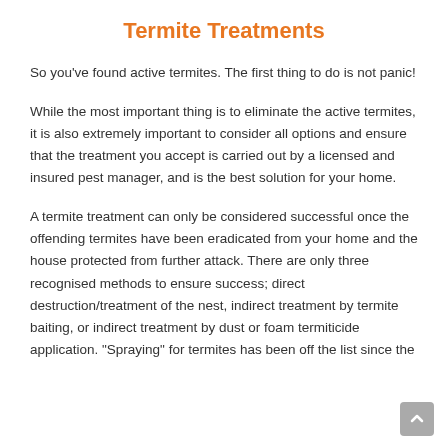Termite Treatments
So you've found active termites. The first thing to do is not panic!
While the most important thing is to eliminate the active termites, it is also extremely important to consider all options and ensure that the treatment you accept is carried out by a licensed and insured pest manager, and is the best solution for your home.
A termite treatment can only be considered successful once the offending termites have been eradicated from your home and the house protected from further attack. There are only three recognised methods to ensure success; direct destruction/treatment of the nest, indirect treatment by termite baiting, or indirect treatment by dust or foam termiticide application. "Spraying" for termites has been off the list since the